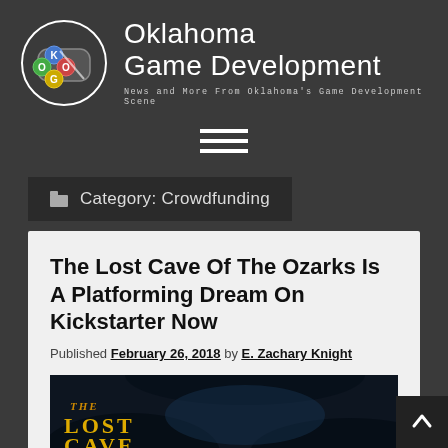[Figure (logo): Oklahoma Game Development logo: circular icon with colored buttons (blue K, green O, red O, yellow G) on a controller graphic, next to site name and tagline]
Oklahoma Game Development
News and More From Oklahoma's Game Development Scene
[Figure (other): Hamburger menu icon (three horizontal white lines)]
Category: Crowdfunding
The Lost Cave Of The Ozarks Is A Platforming Dream On Kickstarter Now
Published February 26, 2018 by E. Zachary Knight
[Figure (photo): Dark cave scene with stylized text reading 'THE LOST CAVE' in orange/yellow decorative font]